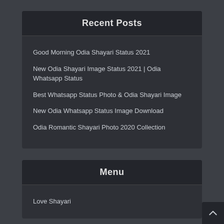Recent Posts
Good Morning Odia Shayari Status 2021
New Odia Shayari Image Status 2021 | Odia Whatsapp Status
Best Whatsapp Status Photo & Odia Shayari Image
New Odia Whatsapp Status Image Download
Odia Romantic Shayari Photo 2020 Collection
Menu
Love Shayari